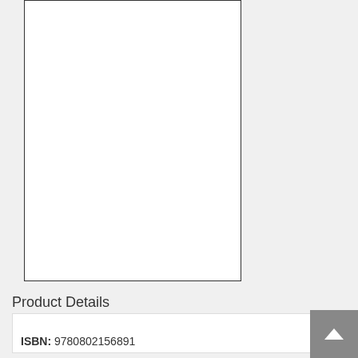[Figure (illustration): White blank book cover placeholder with black border]
Product Details
ISBN: 9780802156891